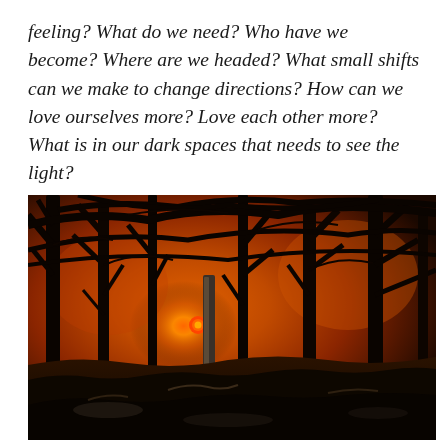feeling? What do we need? Who have we become? Where are we headed? What small shifts can we make to change directions? How can we love ourselves more? Love each other more? What is in our dark spaces that needs to see the light?
[Figure (photo): A photograph of a winter woodland sunset scene. Dark silhouetted bare tree trunks and branches fill the frame against a glowing orange and amber sky. A small bright red-orange sun is visible low between the trees. The lower portion shows dark ground with snow and fallen leaves. The overall mood is atmospheric and dramatic.]